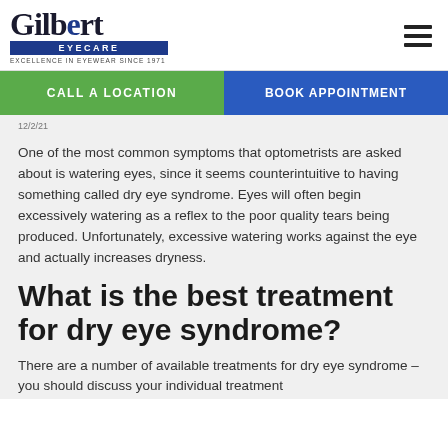[Figure (logo): Gilbert Eyecare logo with text 'EYECARE' in blue bar and tagline 'EXCELLENCE IN EYEWEAR SINCE 1971']
CALL A LOCATION | BOOK APPOINTMENT
One of the most common symptoms that optometrists are asked about is watering eyes, since it seems counterintuitive to having something called dry eye syndrome. Eyes will often begin excessively watering as a reflex to the poor quality tears being produced. Unfortunately, excessive watering works against the eye and actually increases dryness.
What is the best treatment for dry eye syndrome?
There are a number of available treatments for dry eye syndrome – you should discuss your individual treatment